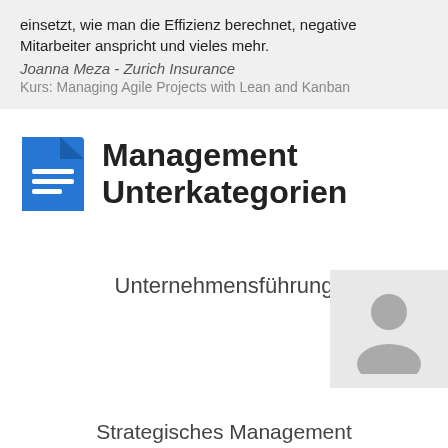einsetzt, wie man die Effizienz berechnet, negative Mitarbeiter anspricht und vieles mehr.
Joanna Meza - Zurich Insurance
Kurs: Managing Agile Projects with Lean and Kanban
Management Unterkategorien
Unternehmensführung
[Figure (illustration): Gray placeholder icon showing a person/user silhouette]
Strategisches Management